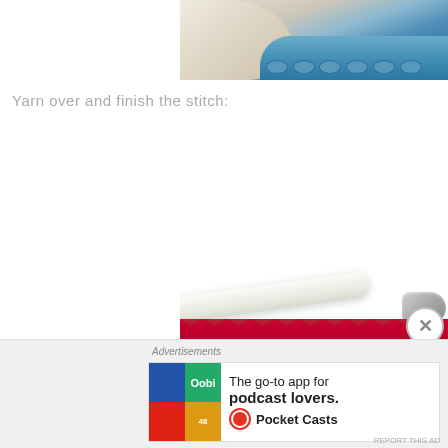[Figure (photo): Close-up photo of blue and cream crochet stitches, cropped at top of page]
Yarn over and finish the stitch:
[Figure (photo): Photo of crochet hook with white yarn over red/pink crochet work, showing how to finish a stitch]
Advertisements
[Figure (screenshot): Advertisement for Pocket Casts app: 'The go-to app for podcast lovers.' with Pocket Casts logo]